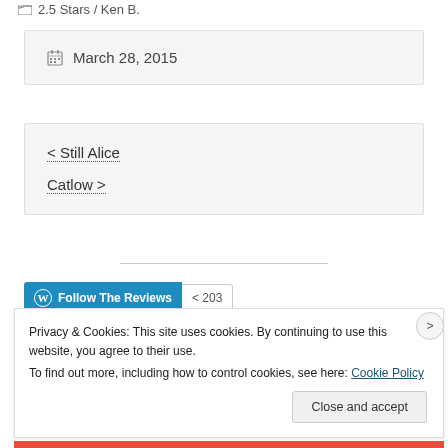2.5 Stars / Ken B.
March 28, 2015
< Still Alice
Catlow >
Follow The Reviews   203
Privacy & Cookies: This site uses cookies. By continuing to use this website, you agree to their use. To find out more, including how to control cookies, see here: Cookie Policy
Close and accept